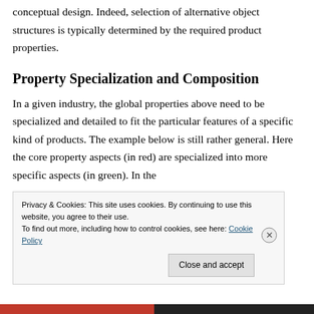conceptual design. Indeed, selection of alternative object structures is typically determined by the required product properties.
Property Specialization and Composition
In a given industry, the global properties above need to be specialized and detailed to fit the particular features of a specific kind of products. The example below is still rather general. Here the core property aspects (in red) are specialized into more specific aspects (in green). In the corner we find four kinds of core aspects that have different
Privacy & Cookies: This site uses cookies. By continuing to use this website, you agree to their use.
To find out more, including how to control cookies, see here: Cookie Policy
Close and accept